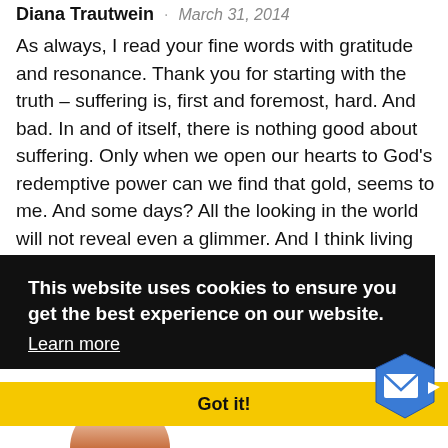Diana Trautwein · March 31, 2014
As always, I read your fine words with gratitude and resonance. Thank you for starting with the truth – suffering is, first and foremost, hard. And bad. In and of itself, there is nothing good about suffering. Only when we open our hearts to God's redemptive power can we find that gold, seems to me. And some days? All the looking in the world will not reveal even a glimmer. And I think living with a chronic, debilitating illness is at the top of the list of hard. Thank you for sharing your journey with all of us, Tanya. We see those glimmers a lot, my friend. And yet – we
This website uses cookies to ensure you get the best experience on our website.
Learn more
Got it!